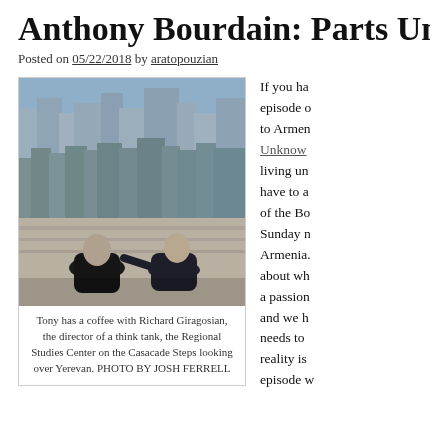Anthony Bourdain: Parts Unkn
Posted on 05/22/2018 by aratopouzian
[Figure (photo): Two men sitting on Cascade Steps in Yerevan, Armenia, with city skyline in background. One man in black jacket seen from behind, the other in dark vest and jeans facing him.]
Tony has a coffee with Richard Giragosian, the director of a think tank, the Regional Studies Center on the Casacade Steps looking over Yerevan. PHOTO BY JOSH FERRELL
If you ha episode o to Armen Unknow living un have to a of the Bo Sunday n Armenia. about wh a passion and we h needs to reality is episode w